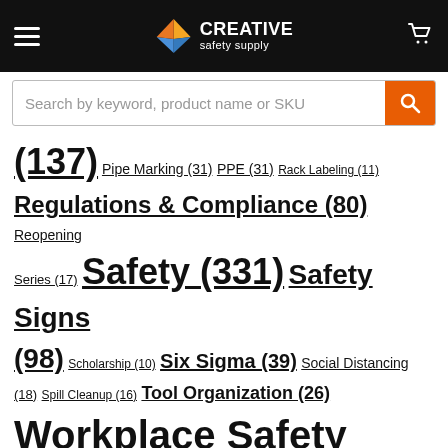[Figure (logo): Creative Safety Supply navbar with hamburger menu, logo, and cart icon]
Search by keyword, product name or SKU
(137) Pipe Marking (31) PPE (31) Rack Labeling (11) Regulations & Compliance (80) Reopening Series (17) Safety (331) Safety Signs (98) Scholarship (10) Six Sigma (39) Social Distancing (18) Spill Cleanup (16) Tool Organization (26) Workplace Safety (288)
Helpful Resources